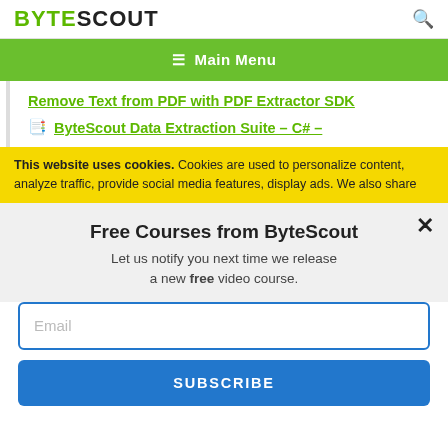BYTESCOUT
[Figure (other): Green navigation bar with hamburger menu icon and Main Menu text]
Remove Text from PDF with PDF Extractor SDK
ByteScout Data Extraction Suite – C# –
This website uses cookies. Cookies are used to personalize content, analyze traffic, provide social media features, display ads. We also share
Free Courses from ByteScout
Let us notify you next time we release a new free video course.
Email
SUBSCRIBE